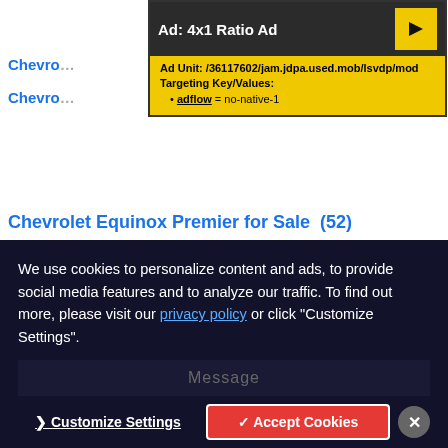[Figure (screenshot): Ad banner showing '4x1 Ratio Ad' with ad unit path /36117602/jam.jdpa.used.mob/lsvdp/mod and targeting key adflow = no-native-1, yellow background with black header]
Chevrolet Equinox Premier for Sale  (52)
Chevrolet Equinox LTZ for Sale  (12)
Chevrolet Equinox LT W/1LT for Sale  (9)
Chevrolet Equinox LT W/2LT for Sale  (4)
Popular Chevrolet for Sale by Location
We use cookies to personalize content and ads, to provide social media features and to analyze our traffic. To find out more, please visit our privacy policy or click "Customize Settings".